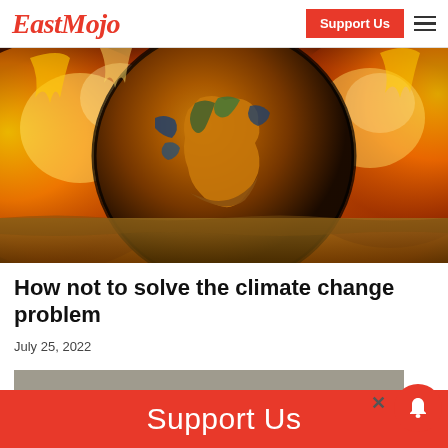EastMojo | Support Us
[Figure (photo): A dramatic illustration of Earth globe half-submerged in water, surrounded by intense fire and golden flames against a dark background — representing climate change and global warming.]
How not to solve the climate change problem
July 25, 2022
[Figure (photo): Partial view of a second article image, grayscale/muted, partially obscured by the Support Us banner.]
Support Us